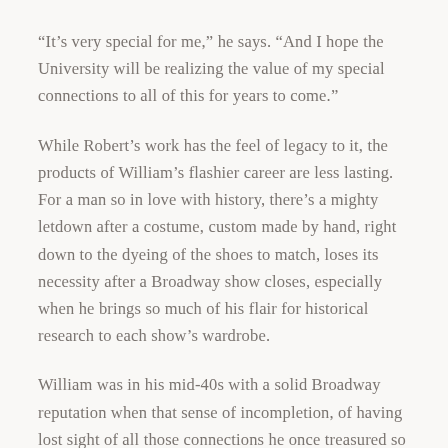“It’s very special for me,” he says. “And I hope the University will be realizing the value of my special connections to all of this for years to come.”
While Robert’s work has the feel of legacy to it, the products of William’s flashier career are less lasting. For a man so in love with history, there’s a mighty letdown after a costume, custom made by hand, right down to the dyeing of the shoes to match, loses its necessity after a Broadway show closes, especially when he brings so much of his flair for historical research to each show’s wardrobe.
William was in his mid-40s with a solid Broadway reputation when that sense of incompletion, of having lost sight of all those connections he once treasured so dearly, came screaming back to him.